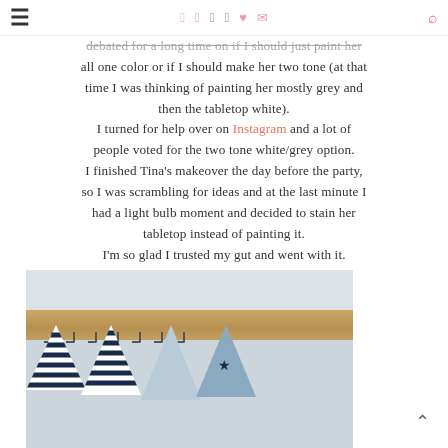≡  [social icons: facebook, pinterest, instagram, twitter, heart, mail]  [search]
debated for a long time on if I should just paint her all one color or if I should make her two tone (at that time I was thinking of painting her mostly grey and then the tabletop white). I turned for help over on Instagram and a lot of people voted for the two tone white/grey option. I finished Tina's makeover the day before the party, so I was scrambling for ideas and at the last minute I had a light bulb moment and decided to stain her tabletop instead of painting it. I'm so glad I trusted my gut and went with it.
[Figure (photo): Photo showing a wooden table/shelf with white painted frame and natural wood top, decorated with navy blue and white striped bunting flags hanging below it.]